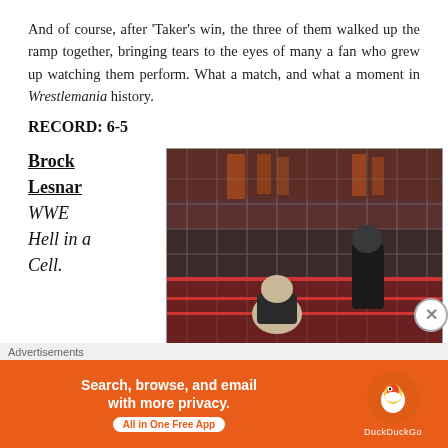And of course, after 'Taker's win, the three of them walked up the ramp together, bringing tears to the eyes of many a fan who grew up watching them perform. What a match, and what a moment in Wrestlemania history.
RECORD: 6-5
Brock Lesnar WWE Hell in a Cell.
[Figure (photo): Wrestling match photo showing two wrestlers inside a Hell in a Cell cage, one fighter crouching and one standing in black attire, with crowd visible in background]
Advertisements
[Figure (infographic): DuckDuckGo advertisement banner: Search, browse, and email with more privacy. All in One Free App. Orange background with DuckDuckGo logo.]